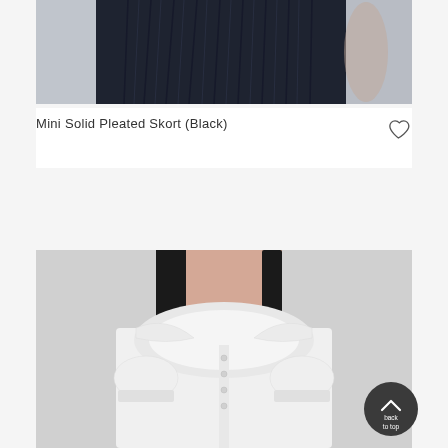[Figure (photo): Top portion of a model wearing a dark navy/black pleated mini skort, showing the pleated skirt section against a light grey background]
Mini Solid Pleated Skort (Black)
[Figure (illustration): Heart/wishlist icon outline]
[Figure (photo): Model wearing a white short-sleeve blouse with a large ruffled peter pan collar and small buttons down the front, black straight hair visible, light background]
[Figure (other): Dark circular back-to-top button with upward chevron arrow and text 'back to top']